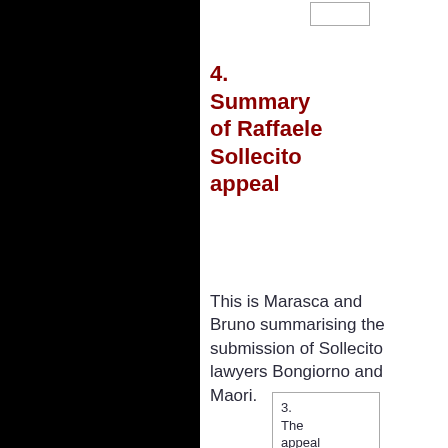[Figure (other): Small navigation box at top right of page]
4. Summary of Raffaele Sollecito appeal
This is Marasca and Bruno summarising the submission of Sollecito lawyers Bongiorno and Maori.
[Figure (other): Small card at bottom showing '3. The appeal on']